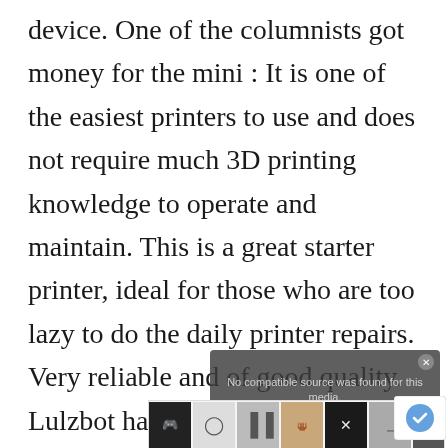device. One of the columnists got money for the mini : It is one of the easiest printers to use and does not require much 3D printing knowledge to operate and maintain. This is a great starter printer, ideal for those who are too lazy to do the daily printer repairs. Very reliable and of good quality. Lulzbot has built a large online
[Figure (screenshot): Video player overlay showing 'No compatible source was found for this media' message with close button, overlapping the main text. Below it is an advertisement bar showing product thumbnails.]